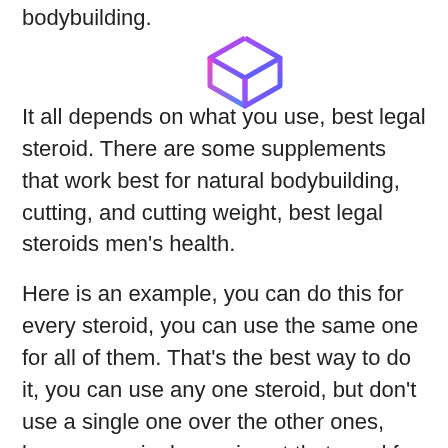bodybuilding.
[Figure (logo): 3D cube logo with pink/purple and blue gradient outline]
It all depends on what you use, best legal steroid. There are some supplements that work best for natural bodybuilding, cutting, and cutting weight, best legal steroids men's health.
Here is an example, you can do this for every steroid, you can use the same one for all of them. That's the best way to do it, you can use any one steroid, but don't use a single one over the other ones, because a single one is not that good for you, best legal steroids for sale. It's the best thing to do, best legal steroids for sale.
The top weight loss supplements for natural bodybuilding, cutting, and cutting weight are:
1. Creatine 3, steroid best legal.0 Creatine supplementation increases insulin signaling,